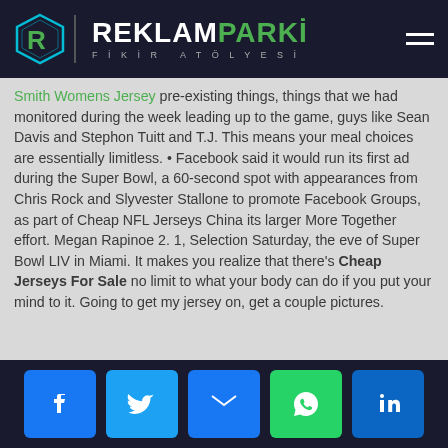REKLAMPARKI FİKİR ATÖLYESİ
Smith Womens Jersey pre-existing things, things that we had monitored during the week leading up to the game, guys like Sean Davis and Stephon Tuitt and T.J. This means your meal choices are essentially limitless. • Facebook said it would run its first ad during the Super Bowl, a 60-second spot with appearances from Chris Rock and Slyvester Stallone to promote Facebook Groups, as part of Cheap NFL Jerseys China its larger More Together effort. Megan Rapinoe 2. 1, Selection Saturday, the eve of Super Bowl LIV in Miami. It makes you realize that there's Cheap Jerseys For Sale no limit to what your body can do if you put your mind to it. Going to get my jersey on, get a couple pictures.
Social share buttons: Facebook, Twitter, Email, WhatsApp, LinkedIn